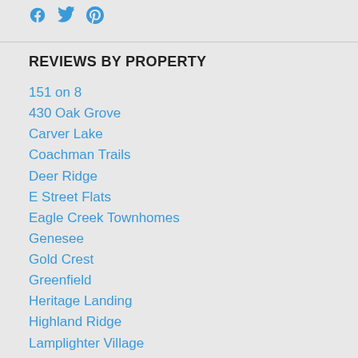[Figure (other): Social media icons: Facebook, Twitter, Pinterest in blue]
REVIEWS BY PROPERTY
151 on 8
430 Oak Grove
Carver Lake
Coachman Trails
Deer Ridge
E Street Flats
Eagle Creek Townhomes
Genesee
Gold Crest
Greenfield
Heritage Landing
Highland Ridge
Lamplighter Village
NorthPointe
One Southdale Place